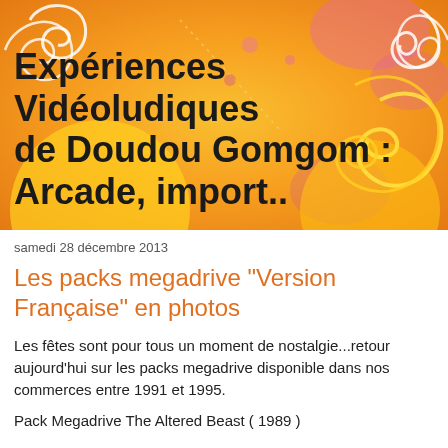[Figure (illustration): Orange decorative banner with swirling floral/scroll patterns in yellow, white, and pink on an orange gradient background. Site header graphic.]
Expériences Vidéoludiques de Doudou Gomgom : Arcade, import..
samedi 28 décembre 2013
Les packs megadrive "Version Française" en photos
Les fêtes sont pour tous un moment de nostalgie...retour aujourd'hui sur les packs megadrive disponible dans nos commerces entre 1991 et 1995.
Pack Megadrive The Altered Beast ( 1989 )